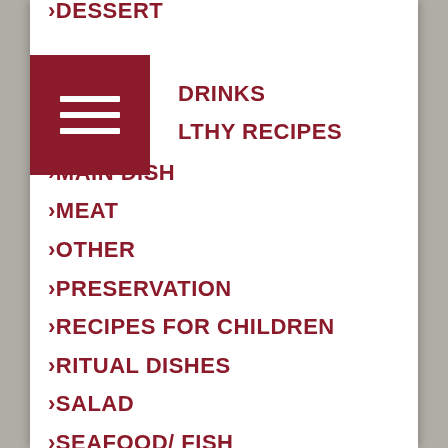DESSERT
DRINKS
HEALTHY RECIPES
MAIN DISH
MEAT
OTHER
PRESERVATION
RECIPES FOR CHILDREN
RITUAL DISHES
SALAD
SEAFOOD/ FISH
SECOND COURSE
STEP-BY-STEP RECIPES
UKRAINIAN CUISINE
VEGETABLES/ FRUITS
VEGETARIAN